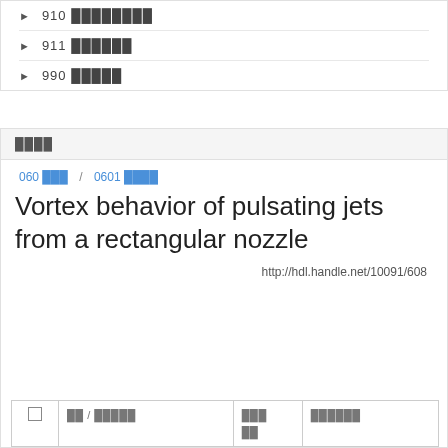910 ░░░░░░░░
911 ░░░░░░
990 ░░░░░
░░░░
060 ░░░ / 0601 ░░░░
Vortex behavior of pulsating jets from a rectangular nozzle
http://hdl.handle.net/10091/608
|  | ░░ / ░░░░░ | ░░░░░░ | ░░░░░░ |
| --- | --- | --- | --- |
| □ | ░░ / ░░░░░ | ░░░░░░ | ░░░░░░ |